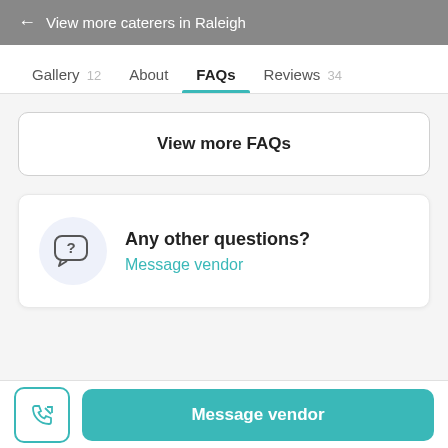← View more caterers in Raleigh
Gallery 12   About   FAQs   Reviews 34
View more FAQs
Any other questions?
Message vendor
Message vendor